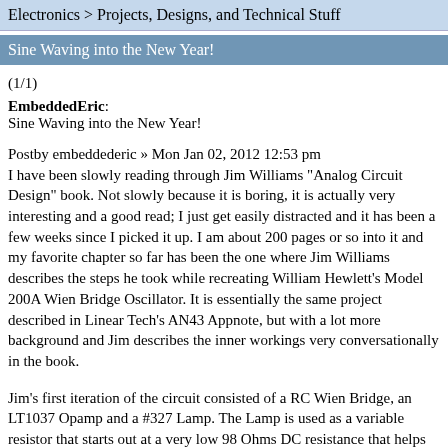Electronics > Projects, Designs, and Technical Stuff
Sine Waving into the New Year!
(1/1)
EmbeddedEric:
Sine Waving into the New Year!
Postby embeddederic » Mon Jan 02, 2012 12:53 pm
I have been slowly reading through Jim Williams "Analog Circuit Design" book. Not slowly because it is boring, it is actually very interesting and a good read; I just get easily distracted and it has been a few weeks since I picked it up. I am about 200 pages or so into it and my favorite chapter so far has been the one where Jim Williams describes the steps he took while recreating William Hewlett's Model 200A Wien Bridge Oscillator. It is essentially the same project described in Linear Tech's AN43 Appnote, but with a lot more background and Jim describes the inner workings very conversationally in the book.
Jim's first iteration of the circuit consisted of a RC Wien Bridge, an LT1037 Opamp and a #327 Lamp. The Lamp is used as a variable resistor that starts out at a very low 98 Ohms DC resistance that helps set the Opamp oscillation (because of the sine wave, that is)...